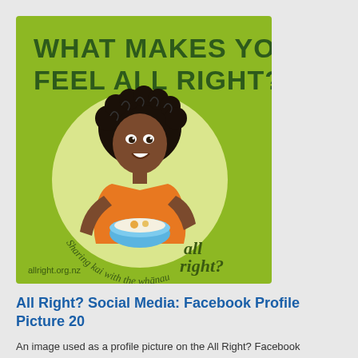[Figure (illustration): A square illustration with lime green background. Bold dark green text reads 'WHAT MAKES YOU FEEL ALL RIGHT?' at the top. In the center is a large light circle containing a cartoon illustration of a dark-skinned girl with curly black hair wearing an orange shirt, holding a blue bowl. Curved text around the circle reads 'Sharing kai with the whānau'. In the bottom right corner is the 'all right?' logo in dark olive/green script. Bottom left shows 'allright.org.nz' in small text.]
All Right? Social Media: Facebook Profile Picture 20
An image used as a profile picture on the All Right? Facebook